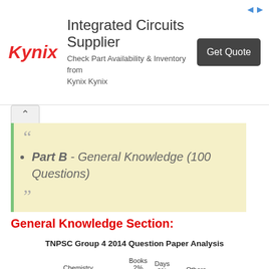[Figure (logo): Kynix Integrated Circuits Supplier advertisement banner with logo, text, and Get Quote button]
Part B - General Knowledge (100 Questions)
General Knowledge Section:
[Figure (pie-chart): TNPSC Group 4 2014 Question Paper Analysis]